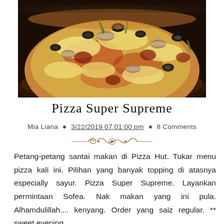[Figure (photo): Close-up photograph of a Pizza Super Supreme from Pizza Hut, showing melted cheese, mushrooms, black olives, green vegetables, and meat toppings on a pizza in a round dark pan.]
Pizza Super Supreme
Mia Liana • 3/22/2019 07:01:00 pm • 8 Comments
Petang-petang santai makan di Pizza Hut. Tukar menu pizza kali ini. Pilihan yang banyak topping di atasnya especially sayur. Pizza Super Supreme. Layankan permintaan Sofea. Nak makan yang ini pula. Alhamdulillah.... kenyang. Order yang saiz regular. ** sweet evening... ...